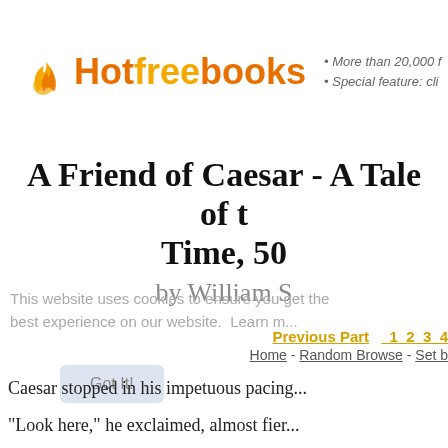[Figure (logo): Hotfreebooks logo with orange flame icon and text]
• More than 20,000 f
• Special feature: cli
A Friend of Caesar - A Tale of t Time, 50
by William S
This website uses cookies to ensure you get the best experience on our website. Learn m...
Previous Part  1 2 3 4
Home - Random Browse - Set b
Got It!
Caesar stopped in his impetuous pacing...
"Look here," he exclaimed, almost fier...